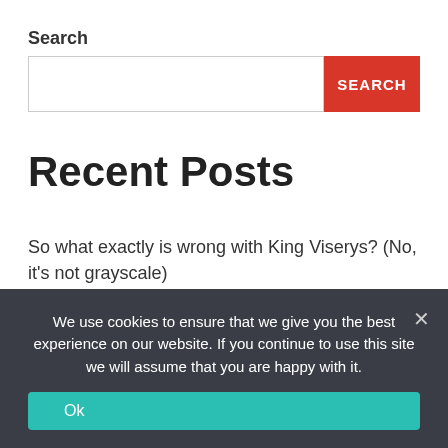Search
[Figure (other): Search input box with red SEARCH button]
Recent Posts
So what exactly is wrong with King Viserys? (No, it's not grayscale)
Canalys Newsroom – Smartphone shipments in North America decreased 6% in Q2 2022 as demand declines
We use cookies to ensure that we give you the best experience on our website. If you continue to use this site we will assume that you are happy with it.